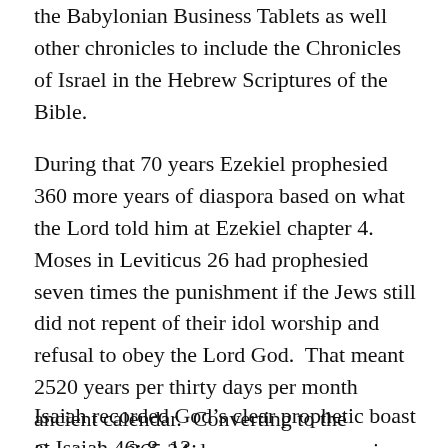the Babylonian Business Tablets as well other chronicles to include the Chronicles of Israel in the Hebrew Scriptures of the Bible.
During that 70 years Ezekiel prophesied 360 more years of diaspora based on what the Lord told him at Ezekiel chapter 4.  Moses in Leviticus 26 had prophesied seven times the punishment if the Jews still did not repent of their idol worship and refusal to obey the Lord God.  That meant 2520 years per thirty days per month ancient calendar.  Converting to the Gregorian 365.24 days per year we arrive at 2483 years until the prophesied return of Israel precisely in 1948.
Isaiah recorded God’s clear prophetic boast at Isaiah 46: 8–13: